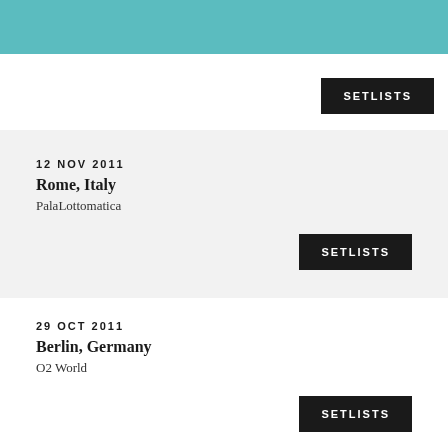SETLISTS
12 NOV 2011
Rome, Italy
PalaLottomatica
SETLISTS
29 OCT 2011
Berlin, Germany
O2 World
SETLISTS